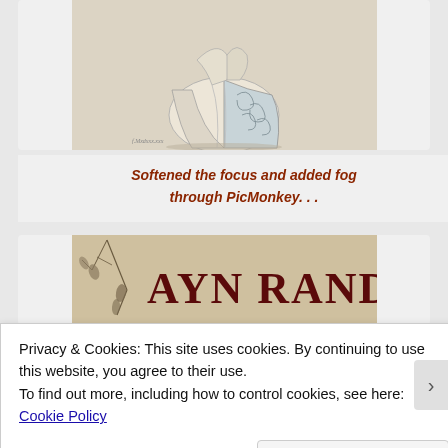[Figure (illustration): Pencil sketch of a figure in a flowing, decorated dress or robe, shown from behind or side, with ornate patterns. Artist signature visible at bottom left of image.]
Softened the focus and added fog through PicMonkey. . .
[Figure (illustration): Partial view of a book or publication cover showing 'AYN RAND' in large serif font with decorative branch/floral artwork on the left side. Background is a tan/beige color.]
Privacy & Cookies: This site uses cookies. By continuing to use this website, you agree to their use.
To find out more, including how to control cookies, see here: Cookie Policy
Close and accept